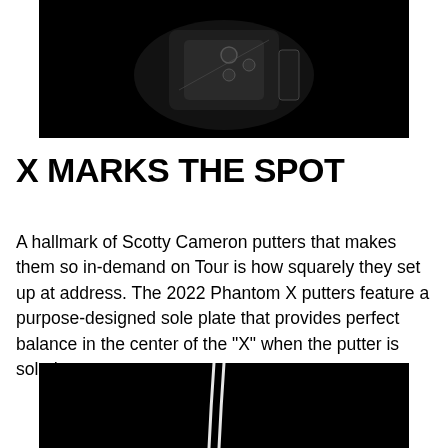[Figure (photo): Close-up product photo of a Scotty Cameron putter head against a black background, showing dark metallic finish and design details]
X MARKS THE SPOT
A hallmark of Scotty Cameron putters that makes them so in-demand on Tour is how squarely they set up at address. The 2022 Phantom X putters feature a purpose-designed sole plate that provides perfect balance in the center of the "X" when the putter is soled.
[Figure (photo): Partial product photo of a putter shaft showing two white curved lines against a black background, cropped at bottom of page]